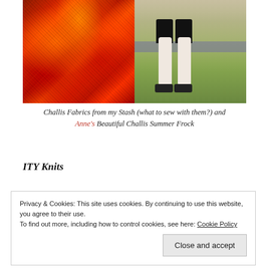[Figure (photo): Two photos side by side: left shows red/orange textured challis fabric in rich warm tones; right shows a child's lower body wearing a floral dress with black leggings and black shoes, sitting on a bench with grass in background.]
Challis Fabrics from my Stash (what to sew with them?) and Anne's Beautiful Challis Summer Frock
ITY Knits
Privacy & Cookies: This site uses cookies. By continuing to use this website, you agree to their use.
To find out more, including how to control cookies, see here: Cookie Policy